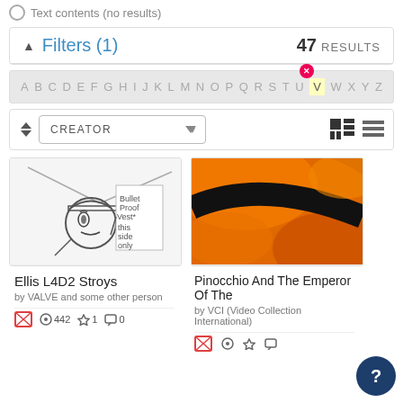Text contents (no results)
Filters (1)   47 RESULTS
A B C D E F G H I J K L M N O P Q R S T U V W X Y Z
CREATOR
[Figure (screenshot): Sketch drawing thumbnail for Ellis L4D2 Stroys]
Ellis L4D2 Stroys
by VALVE and some other person
442 views, 1 favorite, 0 comments
[Figure (photo): Orange and black photo for Pinocchio And The Emperor Of The]
Pinocchio And The Emperor Of The
by VCI (Video Collection International)